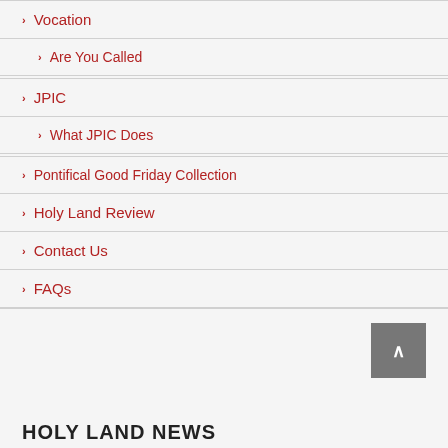Vocation
Are You Called
JPIC
What JPIC Does
Pontifical Good Friday Collection
Holy Land Review
Contact Us
FAQs
HOLY LAND NEWS